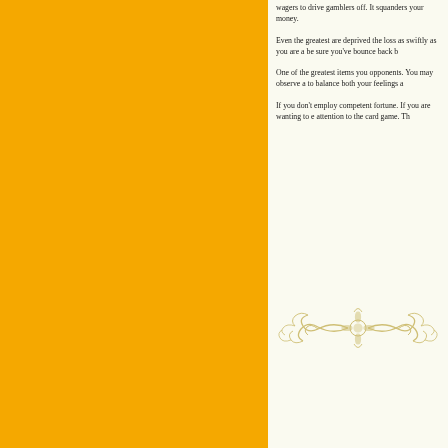wagers to drive gamblers off. It squanders your money.
Even the greatest are deprived the loss as swiftly as you are a be sure you've bounce back b
One of the greatest items you opponents. You may observe a to balance both your feelings a
If you don't employ competent fortune. If you are wanting to e attention to the card game. Th
[Figure (illustration): Decorative ornamental divider with scrollwork and floral motifs in gold/tan color]